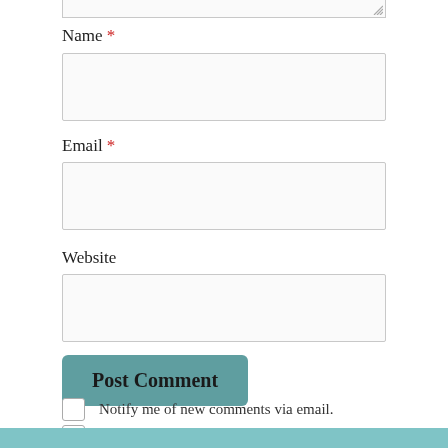[Figure (screenshot): Top portion of a textarea input field (cropped), showing resize handle at bottom-right corner]
Name *
[Figure (screenshot): Empty text input box for Name field]
Email *
[Figure (screenshot): Empty text input box for Email field]
Website
[Figure (screenshot): Empty text input box for Website field]
[Figure (screenshot): Post Comment button in teal/muted green color]
Notify me of new comments via email.
Notify me of new posts via email.
[Figure (screenshot): Teal footer bar at bottom of page]